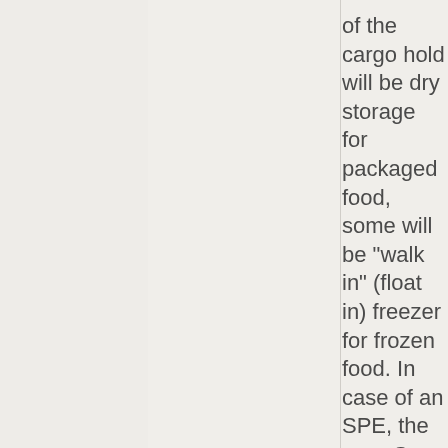of the cargo hold will be dry storage for packaged food, some will be "walk in" (float in) freezer for frozen food. In case of an SPE, the zero-G hub and zero-G cargo hold will be off-limits. The upper level of the ring will have greenhouses, advanced life support such as processing